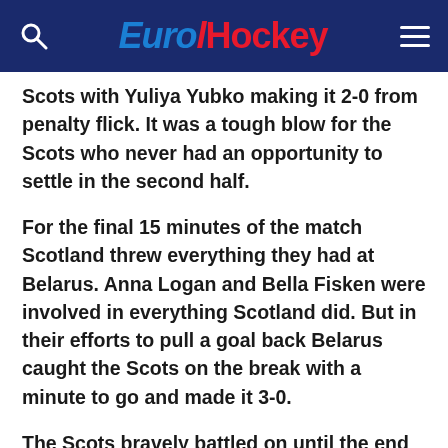EuroHockey
Scots with Yuliya Yubko making it 2-0 from penalty flick. It was a tough blow for the Scots who never had an opportunity to settle in the second half.
For the final 15 minutes of the match Scotland threw everything they had at Belarus. Anna Logan and Bella Fisken were involved in everything Scotland did. But in their efforts to pull a goal back Belarus caught the Scots on the break with a minute to go and made it 3-0.
The Scots bravely battled on until the end but it was Belarus who reached the final, and were rewarded with qualification. They play